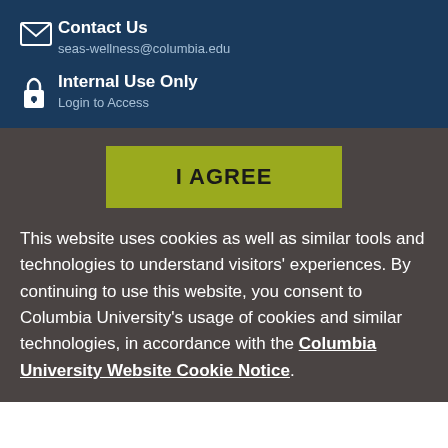Contact Us
seas-wellness@columbia.edu
Internal Use Only
Login to Access
I AGREE
This website uses cookies as well as similar tools and technologies to understand visitors' experiences. By continuing to use this website, you consent to Columbia University's usage of cookies and similar technologies, in accordance with the Columbia University Website Cookie Notice.